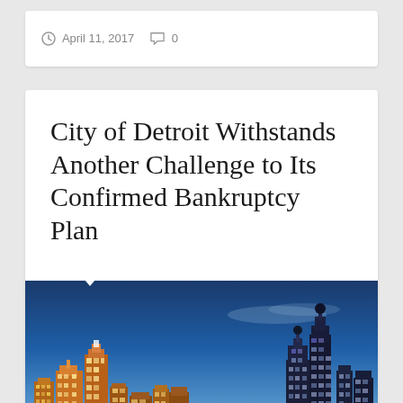April 11, 2017   0
City of Detroit Withstands Another Challenge to Its Confirmed Bankruptcy Plan
[Figure (photo): Detroit city skyline at dusk reflected in water, showing illuminated skyscrapers and buildings against a blue sky]